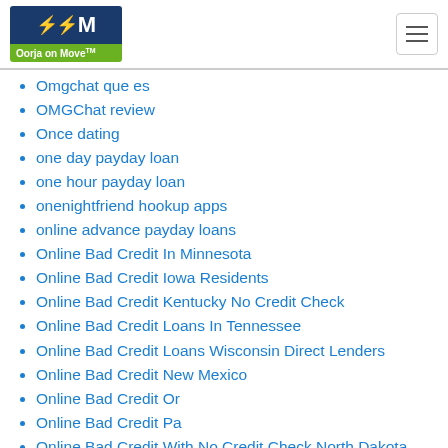Oorja on Move
Omgchat que es
OMGChat review
Once dating
one day payday loan
one hour payday loan
onenightfriend hookup apps
online advance payday loans
Online Bad Credit In Minnesota
Online Bad Credit Iowa Residents
Online Bad Credit Kentucky No Credit Check
Online Bad Credit Loans In Tennessee
Online Bad Credit Loans Wisconsin Direct Lenders
Online Bad Credit New Mexico
Online Bad Credit Or
Online Bad Credit Pa
Online Bad Credit With No Credit Check North Dakota